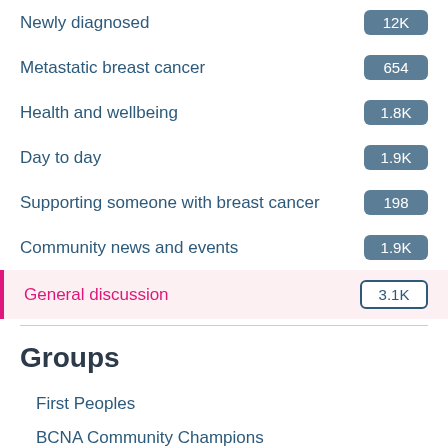Newly diagnosed
Metastatic breast cancer
Health and wellbeing
Day to day
Supporting someone with breast cancer
Community news and events
General discussion
Groups
First Peoples
BCNA Community Champions